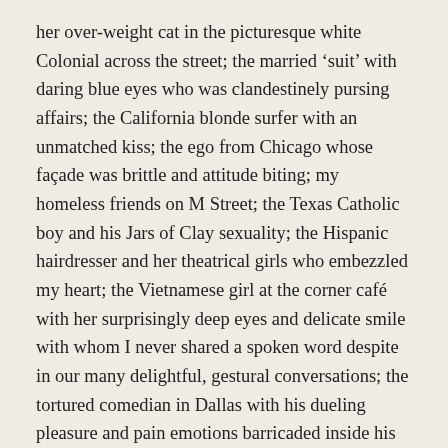her over-weight cat in the picturesque white Colonial across the street; the married ‘suit’ with daring blue eyes who was clandestinely pursing affairs; the California blonde surfer with an unmatched kiss; the ego from Chicago whose façade was brittle and attitude biting; my homeless friends on M Street; the Texas Catholic boy and his Jars of Clay sexuality; the Hispanic hairdresser and her theatrical girls who embezzled my heart; the Vietnamese girl at the corner café with her surprisingly deep eyes and delicate smile with whom I never shared a spoken word despite in our many delightful, gestural conversations; the tortured comedian in Dallas with his dueling pleasure and pain emotions barricaded inside his conflicted soul... I could go on for pages... unfolding each obsolete name tag which no longer bears a name, only a faded memory.
Our paths intersected and we shared an experience that may or may not remain in the confines of their treasure